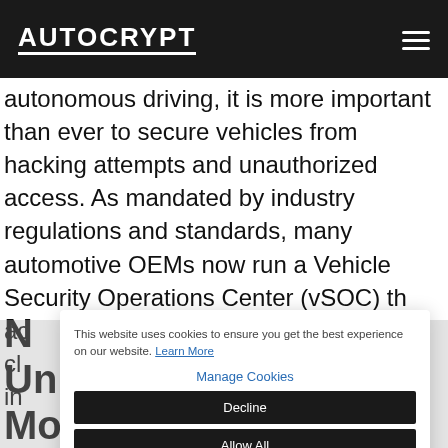AUTOCRYPT
autonomous driving, it is more important than ever to secure vehicles from hacking attempts and unauthorized access. As mandated by industry regulations and standards, many automotive OEMs now run a Vehicle Security Operations Center (vSOC) th ac cl in
[Figure (screenshot): Cookie consent dialog box with message 'This website uses cookies to ensure you get the best experience on our website. Learn More', Manage Cookies link, Decline button, Allow All button, and close X button]
N Universal Mobility